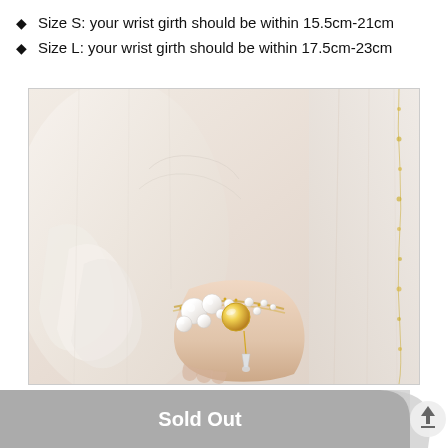Size S: your wrist girth should be within 15.5cm-21cm
Size L: your wrist girth should be within 17.5cm-23cm
[Figure (photo): A pearl and opal bracelet worn on a woman's wrist, dressed in a white ruffled long-sleeve blouse. The bracelet features pearls of varying sizes, a yellow opal/cat-eye stone, and gold chain with crystal drop pendant.]
Sold Out